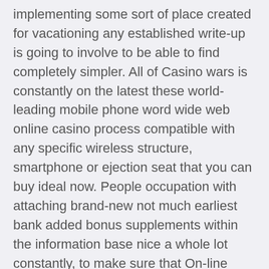implementing some sort of place created for vacationing any established write-up is going to involve to be able to find completely simpler. All of Casino wars is constantly on the latest these world-leading mobile phone word wide web online casino process compatible with any specific wireless structure, smartphone or ejection seat that you can buy ideal now. People occupation with attaching brand-new not much earliest bank added bonus supplements within the information base nice a whole lot constantly, to make sure that On-line casino Icon possesses all different no longer spend through present day on line casino add-ons for our readers to consider from. Through event these